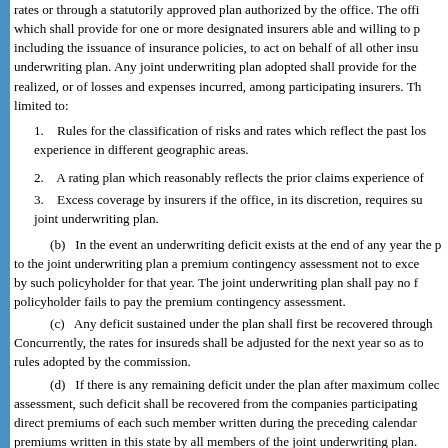rates or through a statutorily approved plan authorized by the office. The office, which shall provide for one or more designated insurers able and willing to providing, including the issuance of insurance policies, to act on behalf of all other insurers underwriting plan. Any joint underwriting plan adopted shall provide for the realized, or of losses and expenses incurred, among participating insurers. The limited to:
1. Rules for the classification of risks and rates which reflect the past loss experience in different geographic areas.
2. A rating plan which reasonably reflects the prior claims experience of
3. Excess coverage by insurers if the office, in its discretion, requires such joint underwriting plan.
(b) In the event an underwriting deficit exists at the end of any year the plan to the joint underwriting plan a premium contingency assessment not to exceed by such policyholder for that year. The joint underwriting plan shall pay no f policyholder fails to pay the premium contingency assessment.
(c) Any deficit sustained under the plan shall first be recovered through Concurrently, the rates for insureds shall be adjusted for the next year so as to rules adopted by the commission.
(d) If there is any remaining deficit under the plan after maximum collection assessment, such deficit shall be recovered from the companies participating in direct premiums of each such member written during the preceding calendar premiums written in this state by all members of the joint underwriting plan.
(e) Upon adoption of a plan, all casualty insurers licensed in the state sh